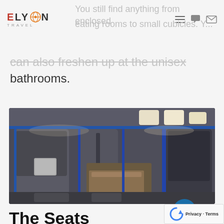ELYON TRAVEL
can also freshen up at the unisex bathrooms.
[Figure (photo): Interior of an airline business class cabin showing lie-flat seats in a 1-2-1 configuration with dark leather seats, blue trim, pillows, and overhead lighting panels.]
The Seats
United's business class cabins are neatly laid out in a 1-2-1 formation across two